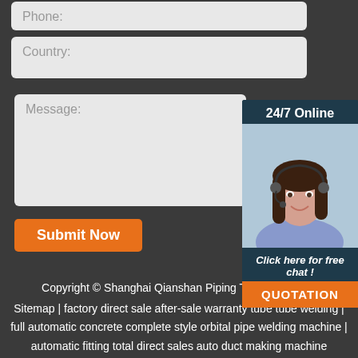Phone:
Country:
Message:
24/7 Online
[Figure (photo): Customer service woman wearing headset, smiling]
Click here for free chat !
QUOTATION
Submit Now
Copyright © Shanghai Qianshan Piping Techr... (QSPT)
Sitemap | factory direct sale after-sale warranty tube tube welding | full automatic concrete complete style orbital pipe welding machine | automatic fitting total direct sales auto duct making machine